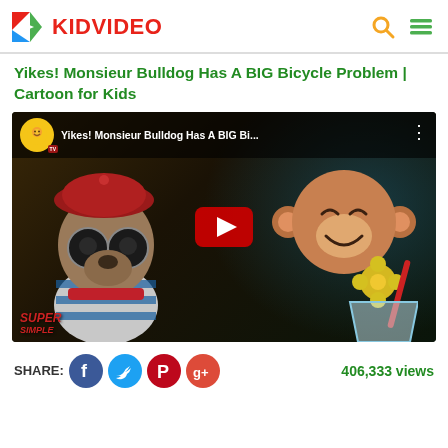KIDVIDEO
Yikes! Monsieur Bulldog Has A BIG Bicycle Problem | Cartoon for Kids
[Figure (screenshot): YouTube-style video thumbnail showing cartoon characters: a bulldog wearing a beret and striped shirt on the left, and a monkey on the right. Video title bar reads 'Yikes! Monsieur Bulldog Has A BIG Bi...' with a channel icon and three-dot menu. Red YouTube play button in center. SuperSimple logo bottom left.]
SHARE: 406,333 views